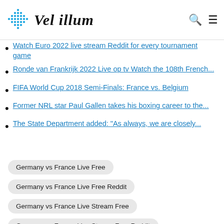Vel illum
Watch Euro 2022 live stream Reddit for every tournament game
Ronde van Frankrijk 2022 Live op tv Watch the 108th French...
FIFA World Cup 2018 Semi-Finals: France vs. Belgium
Former NRL star Paul Gallen takes his boxing career to the...
The State Department added: "As always, we are closely..."
Germany vs France Live Free
Germany vs France Live Free Reddit
Germany vs France Live Stream Free
Germany vs France Live Stream Free Reddit